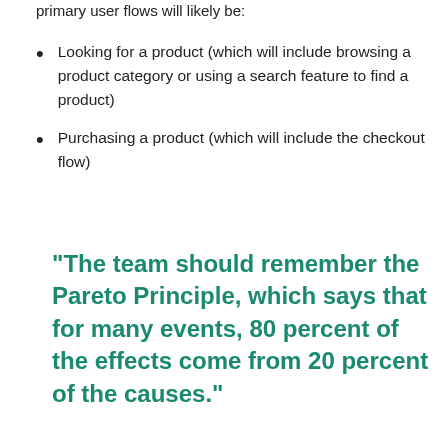primary user flows will likely be:
Looking for a product (which will include browsing a product category or using a search feature to find a product)
Purchasing a product (which will include the checkout flow)
"The team should remember the Pareto Principle, which says that for many events, 80 percent of the effects come from 20 percent of the causes."